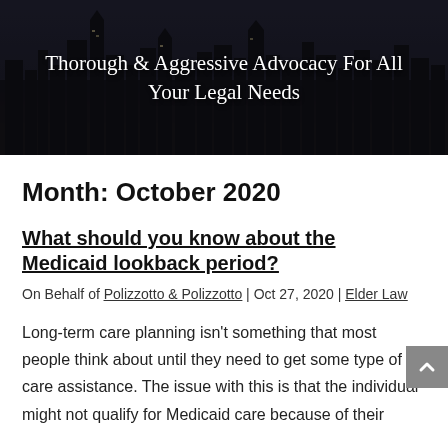[Figure (photo): City skyline banner image with dark overlay and white text reading 'Thorough & Aggressive Advocacy For All Your Legal Needs']
Thorough & Aggressive Advocacy For All Your Legal Needs
Month: October 2020
What should you know about the Medicaid lookback period?
On Behalf of Polizzotto & Polizzotto | Oct 27, 2020 | Elder Law
Long-term care planning isn't something that most people think about until they need to get some type of care assistance. The issue with this is that the individual might not qualify for Medicaid care because of their